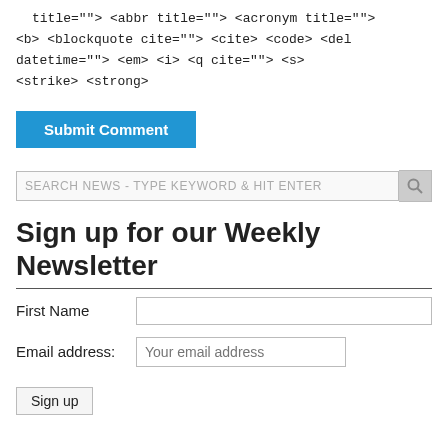title=""> <abbr title=""> <acronym title=""> <b> <blockquote cite=""> <cite> <code> <del datetime=""> <em> <i> <q cite=""> <s> <strike> <strong>
Submit Comment
SEARCH NEWS - TYPE KEYWORD & HIT ENTER
Sign up for our Weekly Newsletter
First Name
Email address: Your email address
Sign up